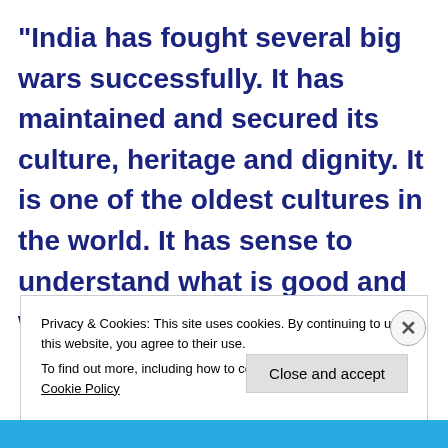“India has fought several big wars successfully. It has maintained and secured its culture, heritage and dignity. It is one of the oldest cultures in the world. It has sense to understand what is good and what is bad for its fate. It has
Privacy & Cookies: This site uses cookies. By continuing to use this website, you agree to their use.
To find out more, including how to control cookies, see here: Cookie Policy
Close and accept